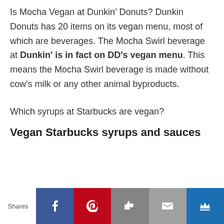Is Mocha Vegan at Dunkin' Donuts? Dunkin Donuts has 20 items on its vegan menu, most of which are beverages. The Mocha Swirl beverage at Dunkin' is in fact on DD's vegan menu. This means the Mocha Swirl beverage is made without cow's milk or any other animal byproducts.
Which syrups at Starbucks are vegan?
Vegan Starbucks syrups and sauces
[Figure (other): Social sharing bar with Facebook, Pinterest, Like, Email, and Crown buttons]